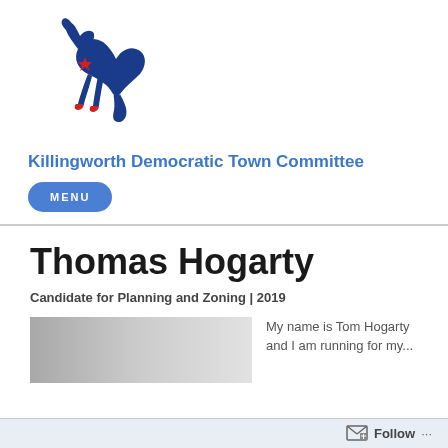[Figure (logo): Democratic Party donkey logo in blue and red, kicking upward]
Killingworth Democratic Town Committee
MENU
Thomas Hogarty
Candidate for Planning and Zoning | 2019
[Figure (photo): Gray gradient photo placeholder, partially visible]
My name is Tom Hogarty and I am running for my...
Follow ...